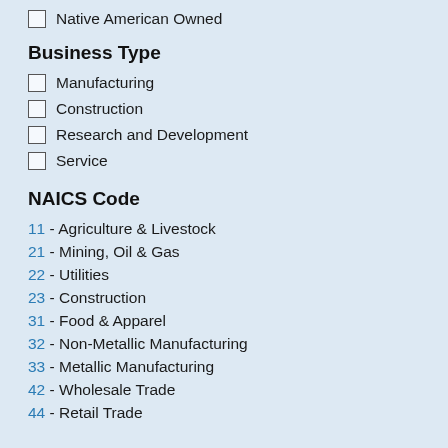Native American Owned
Business Type
Manufacturing
Construction
Research and Development
Service
NAICS Code
11 - Agriculture & Livestock
21 - Mining, Oil & Gas
22 - Utilities
23 - Construction
31 - Food & Apparel
32 - Non-Metallic Manufacturing
33 - Metallic Manufacturing
42 - Wholesale Trade
44 - Retail Trade